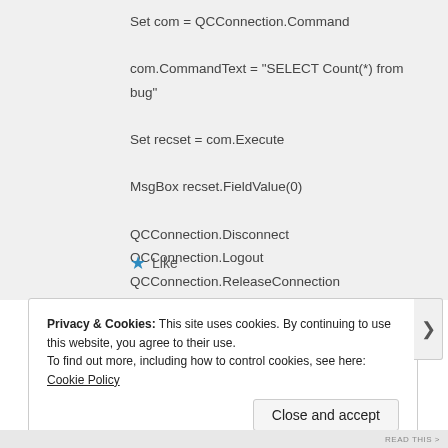Set com = QCConnection.Command
com.CommandText = "SELECT Count(*) from bug"
Set recset = com.Execute

MsgBox recset.FieldValue(0)

QCConnection.Disconnect
QCConnection.Logout
QCConnection.ReleaseConnection

End Sub
★ Like
Privacy & Cookies: This site uses cookies. By continuing to use this website, you agree to their use.
To find out more, including how to control cookies, see here: Cookie Policy
Close and accept